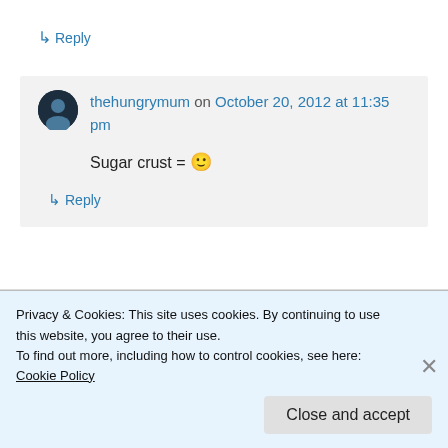↳ Reply
thehungrymum on October 20, 2012 at 11:35 pm
Sugar crust = 🙂
↳ Reply
carolynnageabc on October 19, 2012 at 6:09 pm
Privacy & Cookies: This site uses cookies. By continuing to use this website, you agree to their use. To find out more, including how to control cookies, see here: Cookie Policy